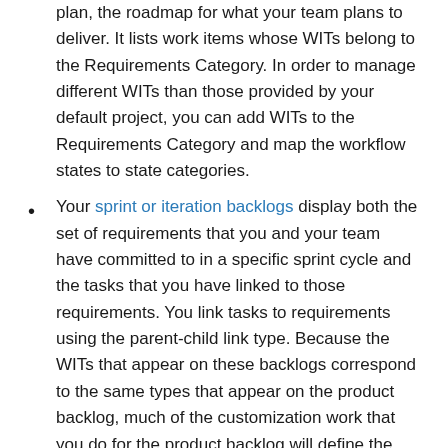plan, the roadmap for what your team plans to deliver. It lists work items whose WITs belong to the Requirements Category. In order to manage different WITs than those provided by your default project, you can add WITs to the Requirements Category and map the workflow states to state categories.
Your sprint or iteration backlogs display both the set of requirements that you and your team have committed to in a specific sprint cycle and the tasks that you have linked to those requirements. You link tasks to requirements using the parent-child link type. Because the WITs that appear on these backlogs correspond to the same types that appear on the product backlog, much of the customization work that you do for the product backlog will define the functionality of the sprint backlog.
Map WIT category workflow states to state